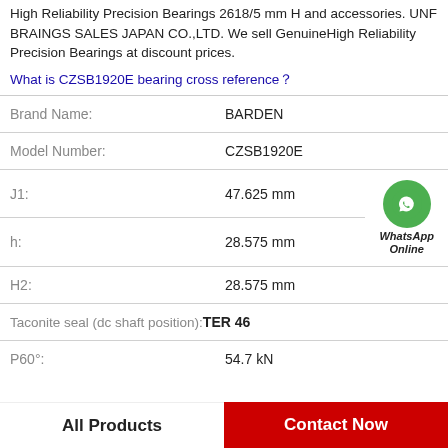High Reliability Precision Bearings 2618/5 mm H and accessories. UNF BRAINGS SALES JAPAN CO.,LTD. We sell GenuineHigh Reliability Precision Bearings at discount prices.
What is CZSB1920E bearing cross reference？
| Field | Value |
| --- | --- |
| Brand Name: | BARDEN |
| Model Number: | CZSB1920E |
| J1: | 47.625 mm |
| h: | 28.575 mm |
| H2: | 28.575 mm |
| Taconite seal (dc shaft position): | TER 46 |
| P60°: | 54.7 kN |
All Products
Contact Now